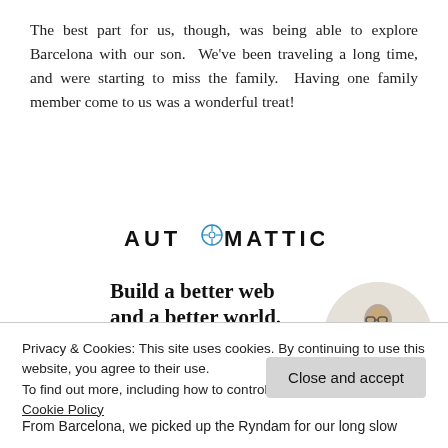The best part for us, though, was being able to explore Barcelona with our son.  We've been traveling a long time, and were starting to miss the family.  Having one family member come to us was a wonderful treat!
[Figure (logo): Automattic logo in black lettering with a compass-like 'O' icon]
[Figure (infographic): Automattic advertisement: 'Build a better web and a better world.' with an Apply button and a circular photo of a man thinking]
Privacy & Cookies: This site uses cookies. By continuing to use this website, you agree to their use.
To find out more, including how to control cookies, see here: Cookie Policy
Close and accept
From Barcelona, we picked up the Ryndam for our long slow